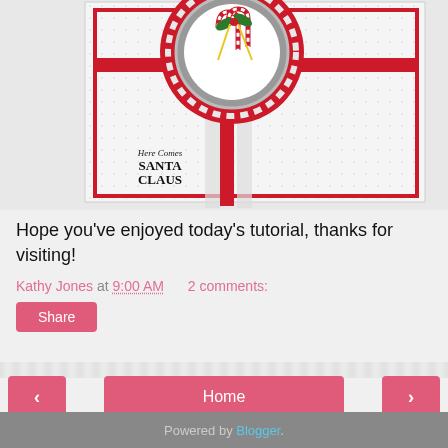[Figure (photo): Cropped photo of a handmade Christmas card featuring a red doily circle, candy cane illustration in center, red horizontal and vertical bars, white embossed background, and 'Here Comes SANTA CLAUS' stamp text.]
Hope you've enjoyed today's tutorial, thanks for visiting!
Kathy Jones at 9:00 AM   2 comments:
Share
‹
Home
›
View web version
Powered by Blogger.